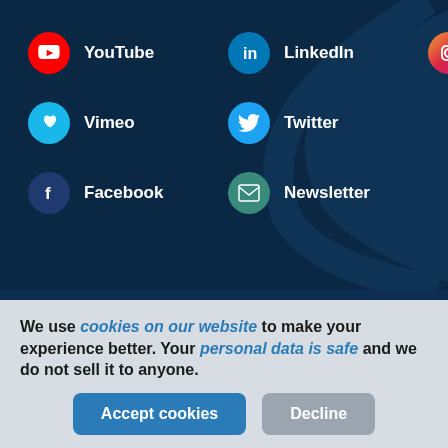YouTube
LinkedIn
Instagram
Vimeo
Twitter
Facebook
Newsletter
WHO WE ARE
Vision
Careers
Strategy
Newsletters
We use cookies on our website to make your experience better. Your personal data is safe and we do not sell it to anyone.